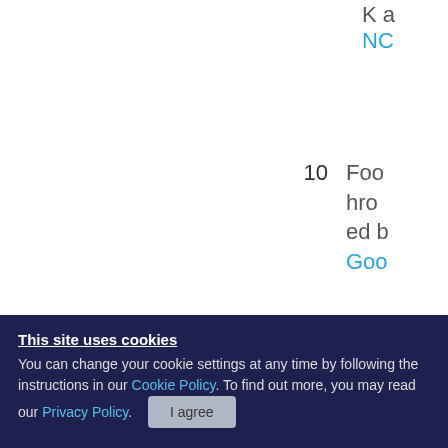K a
NC
10  Foo hro ed b Goo
11  Hua TR ss a BI V
12  Wa
This site uses cookies
You can change your cookie settings at any time by following the instructions in our Cookie Policy. To find out more, you may read our Privacy Policy. I agree